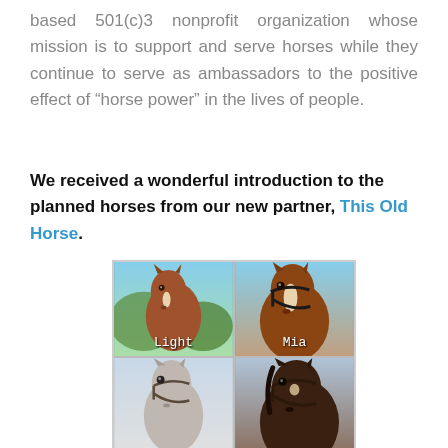based 501(c)3 nonprofit organization whose mission is to support and serve horses while they continue to serve as ambassadors to the positive effect of “horse power” in the lives of people.
We received a wonderful introduction to the planned horses from our new partner, This Old Horse.
[Figure (photo): A 2x2 grid of horse portrait photos. Top-left labeled 'Light' shows a chestnut horse facing forward outdoors with green foliage. Top-right labeled 'Mia' shows a chestnut horse with a white blaze wearing a halter. Bottom-left shows a grey horse. Bottom-right shows a dark bay horse with a white star.]